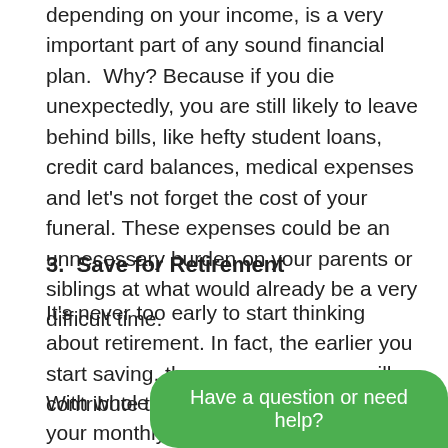depending on your income, is a very important part of any sound financial plan.  Why? Because if you die unexpectedly, you are still likely to leave behind bills, like hefty student loans, credit card balances, medical expenses and let's not forget the cost of your funeral. These expenses could be an unnecessary burden on your parents or siblings at what would already be a very difficult time.
3.  Save for Retirement
It's never too early to start thinking about retirement. In fact, the earlier you start saving, the more money you will contribute to your nest egg.
With whole life insurance, a portion of your monthly premiums accumulates as a cash value, which acts as a savings account. Yo grow with each mo
Have a question or need help?